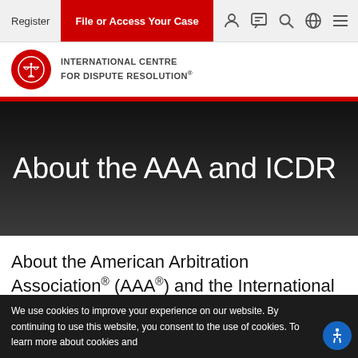Register | File or Access Your Case
[Figure (logo): ICDR logo — red circle with scales icon, text: INTERNATIONAL CENTRE FOR DISPUTE RESOLUTION®]
About the AAA and ICDR
About the American Arbitration Association® (AAA®) and the International Centre for Dispute Resolution® (ICDR®)
We use cookies to improve your experience on our website. By continuing to use this website, you consent to the use of cookies. To learn more about cookies and